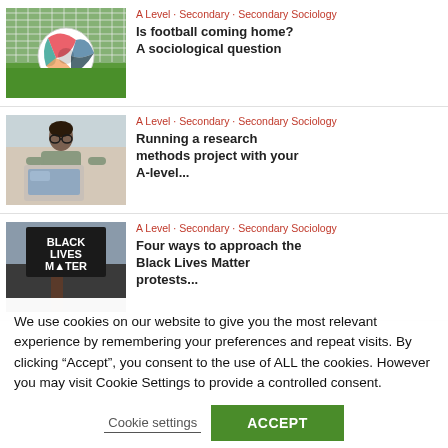[Figure (photo): Soccer ball with international flags on it, in front of a net]
A Level · Secondary · Secondary Sociology
Is football coming home? A sociological question
[Figure (photo): Young woman with glasses working on a laptop at home]
A Level · Secondary · Secondary Sociology
Running a research methods project with your A-level...
[Figure (photo): Person holding a Black Lives Matter sign]
A Level · Secondary · Secondary Sociology
Four ways to approach the Black Lives Matter protests...
We use cookies on our website to give you the most relevant experience by remembering your preferences and repeat visits. By clicking "Accept", you consent to the use of ALL the cookies. However you may visit Cookie Settings to provide a controlled consent.
Cookie settings
ACCEPT